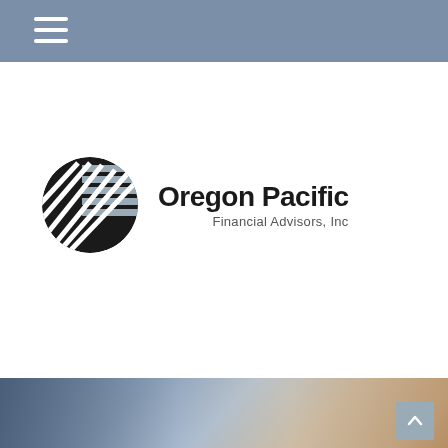Client Login
[Figure (logo): Oregon Pacific Financial Advisors, Inc logo — circular globe-like mark with diagonal black and gray stripes, next to the text 'Oregon Pacific Financial Advisors, Inc']
[Figure (photo): Blurred background photo showing a desk scene, warm tones, with a back-to-top arrow button in the bottom right corner]